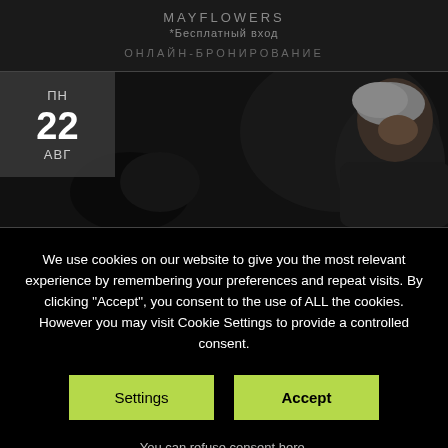MAYFLOWERS
*Бесплатный вход
ОНЛАЙН-БРОНИРОВАНИЕ
[Figure (photo): Event listing with date badge showing ПН 22 АВГ and a photo of a man with grey hair looking down, wearing a black t-shirt, on a dark stage background]
We use cookies on our website to give you the most relevant experience by remembering your preferences and repeat visits. By clicking "Accept", you consent to the use of ALL the cookies. However you may visit Cookie Settings to provide a controlled consent.
Settings
Accept
You can refuse consent here.